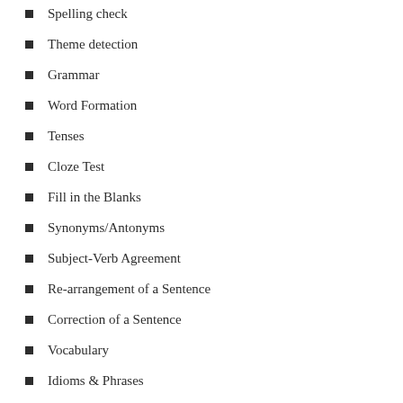Spelling check
Theme detection
Grammar
Word Formation
Tenses
Cloze Test
Fill in the Blanks
Synonyms/Antonyms
Subject-Verb Agreement
Re-arrangement of a Sentence
Correction of a Sentence
Vocabulary
Idioms & Phrases
Identification of errors